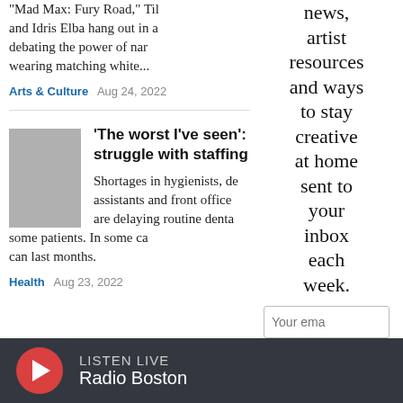"Mad Max: Fury Road," Tilo and Idris Elba hang out in a debating the power of nam wearing matching white...
Arts & Culture  Aug 24, 2022
'The worst I've seen': Den struggle with staffing sh
Shortages in hygienists, de assistants and front office are delaying routine denta some patients. In some ca can last months.
Health  Aug 23, 2022
news, artist resources and ways to stay creative at home sent to your inbox each week.
Your ema
SIGN UP
LISTEN LIVE
Radio Boston